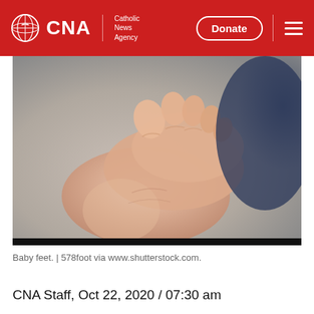CNA | Catholic News Agency
[Figure (photo): Close-up photograph of a baby's foot with small toes visible, soft blurred background in muted tones.]
Baby feet. | 578foot via www.shutterstock.com.
CNA Staff, Oct 22, 2020 / 07:30 am